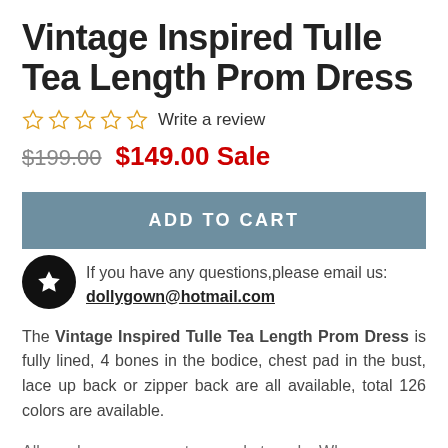Vintage Inspired Tulle Tea Length Prom Dress
☆ ☆ ☆ ☆ ☆  Write a review
$199.00  $149.00 Sale
ADD TO CART
If you have any questions,please email us: dollygown@hotmail.com
The Vintage Inspired Tulle Tea Length Prom Dress is fully lined, 4 bones in the bodice, chest pad in the bust, lace up back or zipper back are all available, total 126 colors are available.
All our dresses are custom made to order.When